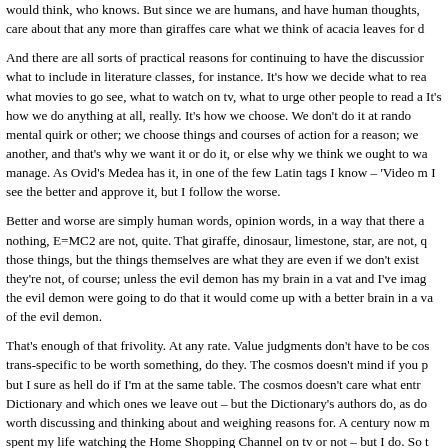would think, who knows. But since we are humans, and have human thoughts, care about that any more than giraffes care what we think of acacia leaves for d
And there are all sorts of practical reasons for continuing to have the discussion what to include in literature classes, for instance. It's how we decide what to rea what movies to go see, what to watch on tv, what to urge other people to read a It's how we do anything at all, really. It's how we choose. We don't do it at rando mental quirk or other; we choose things and courses of action for a reason; we another, and that's why we want it or do it, or else why we think we ought to wa manage. As Ovid's Medea has it, in one of the few Latin tags I know – 'Video m I see the better and approve it, but I follow the worse.
Better and worse are simply human words, opinion words, in a way that there a nothing, E=MC2 are not, quite. That giraffe, dinosaur, limestone, star, are not, q those things, but the things themselves are what they are even if we don't exist they're not, of course; unless the evil demon has my brain in a vat and I've imag the evil demon were going to do that it would come up with a better brain in a v of the evil demon.
That's enough of that frivolity. At any rate. Value judgments don't have to be cos trans-specific to be worth something, do they. The cosmos doesn't mind if you p but I sure as hell do if I'm at the same table. The cosmos doesn't care what entr Dictionary and which ones we leave out – but the Dictionary's authors do, as do worth discussing and thinking about and weighing reasons for. A century now m spent my life watching the Home Shopping Channel on tv or not – but I do. So t provisional value judgments. Whatever.